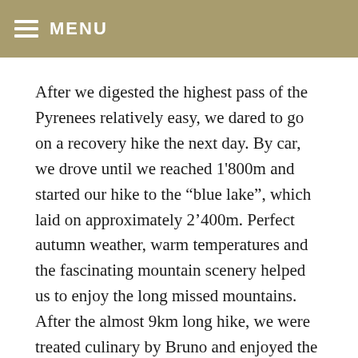MENU
After we digested the highest pass of the Pyrenees relatively easy, we dared to go on a recovery hike the next day. By car, we drove until we reached 1'800m and started our hike to the “blue lake”, which laid on approximately 2’400m. Perfect autumn weather, warm temperatures and the fascinating mountain scenery helped us to enjoy the long missed mountains. After the almost 9km long hike, we were treated culinary by Bruno and enjoyed the cozy atmosphere in the campervan.
Since a longer time, we wanted to buy a new camera and that is why we drove into the capital.